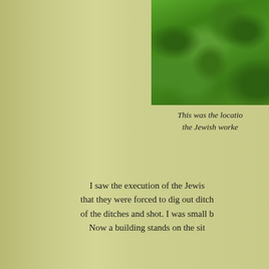[Figure (photo): A photograph of a green grassy field/lawn, viewed from above at an angle. The grass appears lush and densely packed.]
This was the location of the Jewish workers...
I saw the execution of the Jewish... that they were forced to dig out ditches... of the ditches and shot. I was small b... Now a building stands on the sit...
[Figure (other): A light-colored box with a dark green border, partially visible at the bottom right of the page. The interior appears to be blank/empty.]